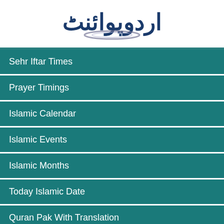[Figure (logo): Urdu Point logo in Urdu script with a stylized curved underline, dark blue text on white background]
Sehr Iftar Times
Prayer Timings
Islamic Calendar
Islamic Events
Islamic Months
Today Islamic Date
Quran Pak With Translation
Recite Quran e Pak
Famous Surah